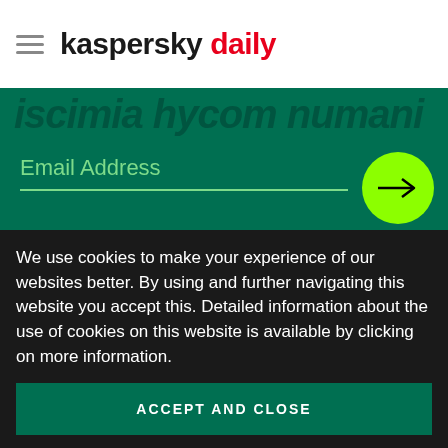kaspersky daily
Email Address
I agree to provide my email address to "AO Kaspersky Lab" to receive information about new posts on the site. I understand that I can withdraw this consent at any time via e-mail by clicking the "unsubscribe" link that I find at the bottom of any e-mail sent to me for the purposes mentioned above.
We use cookies to make your experience of our websites better. By using and further navigating this website you accept this. Detailed information about the use of cookies on this website is available by clicking on more information.
ACCEPT AND CLOSE